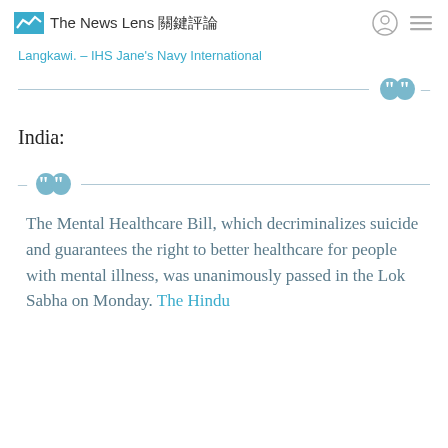The News Lens 關鍵評論
Langkawi. – IHS Jane's Navy International
India:
The Mental Healthcare Bill, which decriminalizes suicide and guarantees the right to better healthcare for people with mental illness, was unanimously passed in the Lok Sabha on Monday. The Hindu